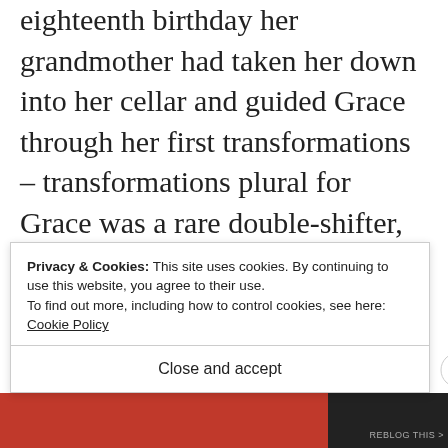eighteenth birthday her grandmother had taken her down into her cellar and guided Grace through her first transformations – transformations plural for Grace was a rare double-shifter, she had both vixen and panther forms. Initially she had shifted to one form, then the other, then back again, with no control whatsoever of her form until she
Privacy & Cookies: This site uses cookies. By continuing to use this website, you agree to their use.
To find out more, including how to control cookies, see here:
Cookie Policy
Close and accept